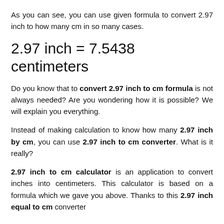As you can see, you can use given formula to convert 2.97 inch to how many cm in so many cases.
2.97 inch = 7.5438 centimeters
Do you know that to convert 2.97 inch to cm formula is not always needed? Are you wondering how it is possible? We will explain you everything.
Instead of making calculation to know how many 2.97 inch by cm, you can use 2.97 inch to cm converter. What is it really?
2.97 inch to cm calculator is an application to convert inches into centimeters. This calculator is based on a formula which we gave you above. Thanks to this 2.97 inch equal to cm converter